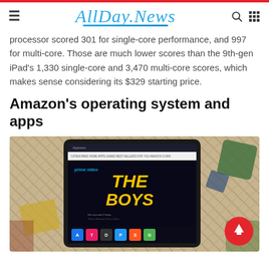AllDay.News
processor scored 301 for single-core performance, and 997 for multi-core. Those are much lower scores than the 9th-gen iPad's 1,330 single-core and 3,470 multi-core scores, which makes sense considering its $329 starting price.
Amazon's operating system and apps
[Figure (photo): Amazon Fire tablet showing Prime Video app with 'The Boys' on a woven rug background, with a red scroll-to-top button visible]